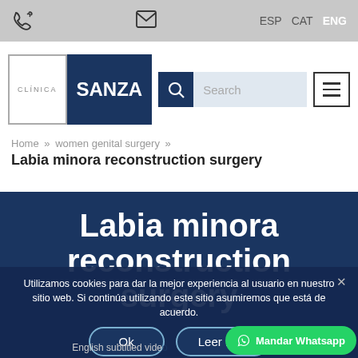ESP  CAT  ENG
[Figure (logo): Clínica Sanza logo with white CLÍNICA text box and dark blue SANZA box]
Search
Home » women genital surgery »
Labia minora reconstruction surgery
Labia minora reconstruction surgery
Utilizamos cookies para dar la mejor experiencia al usuario en nuestro sitio web. Si continúa utilizando este sitio asumiremos que está de acuerdo.
Ok    Leer m...
Mandar Whatsapp
English subtitled vide...